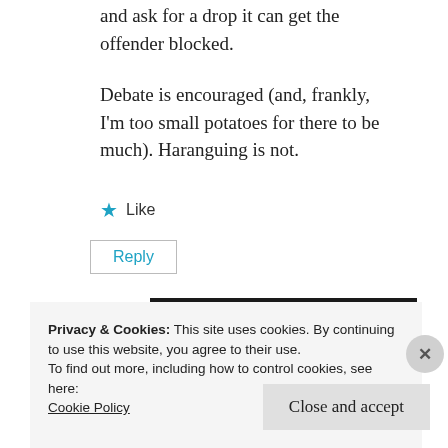and ask for a drop it can get the offender blocked.
Debate is encouraged (and, frankly, I’m too small potatoes for there to be much). Haranguing is not.
★ Like
Reply
Privacy & Cookies: This site uses cookies. By continuing to use this website, you agree to their use.
To find out more, including how to control cookies, see here:
Cookie Policy
Close and accept